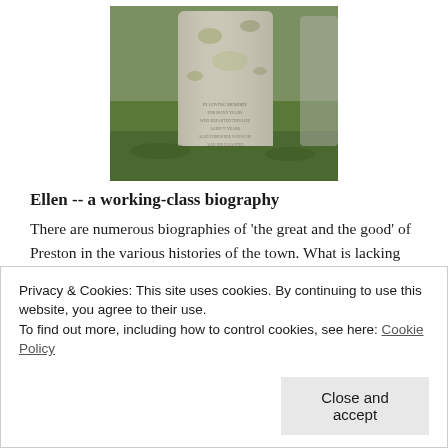[Figure (photo): Photograph of a weathered gravestone with moss/lichen, set against a background of green grass. The stone has inscribed text that is partially legible.]
Ellen -- a working-class biography
There are numerous biographies of 'the great and the good' of Preston in the various histories of the town. What is lacking are the stories of ordinary members of the working class who had no one to chronicle their lives. Family historians
Privacy & Cookies: This site uses cookies. By continuing to use this website, you agree to their use.
To find out more, including how to control cookies, see here: Cookie Policy
Close and accept